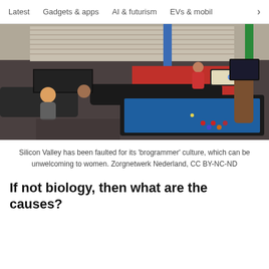Latest   Gadgets & apps   AI & futurism   EVs & mobil >
[Figure (photo): Interior of a Google office recreation room with a blue billiard/pool table in the foreground, a Google-branded billiard lamp overhead, employees relaxing on couches and at tables, ping pong tables in the background, and colorful decor including red carpet and colored pillars.]
Silicon Valley has been faulted for its 'brogrammer' culture, which can be unwelcoming to women. Zorgnetwerk Nederland, CC BY-NC-ND
If not biology, then what are the causes?